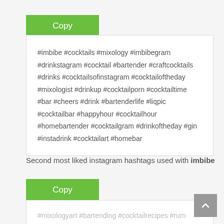Copy
#imbibe #cocktails #mixology #imbibegram #drinkstagram #cocktail #bartender #craftcocktails #drinks #cocktailsofinstagram #cocktailoftheday #mixologist #drinkup #cocktailporn #cocktailtime #bar #cheers #drink #bartenderlife #liqpic #cocktailbar #happyhour #cocktailhour #homebartender #cocktailgram #drinkoftheday #gin #instadrink #cocktailart #homebar
Second most liked instagram hashtags used with imbibe
Copy
#mixologyart #bartending #cocktailrecipes #rum #drinkporn #craftcocktail #craftedmixology #bartenders #drinkup #instacocktails...